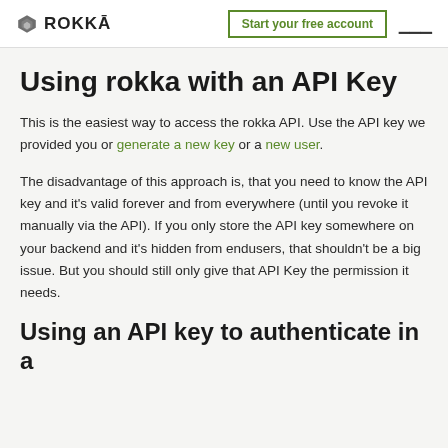ROKKĀ — Start your free account
Using rokka with an API Key
This is the easiest way to access the rokka API. Use the API key we provided you or generate a new key or a new user.
The disadvantage of this approach is, that you need to know the API key and it's valid forever and from everywhere (until you revoke it manually via the API). If you only store the API key somewhere on your backend and it's hidden from endusers, that shouldn't be a big issue. But you should still only give that API Key the permission it needs.
Using an API key to authenticate in a